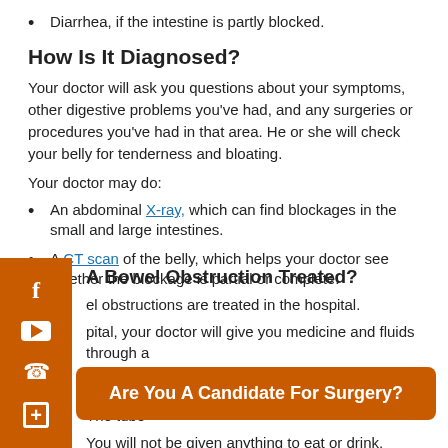Diarrhea, if the intestine is partly blocked.
How Is It Diagnosed?
Your doctor will ask you questions about your symptoms, other digestive problems you've had, and any surgeries or procedures you've had in that area. He or she will check your belly for tenderness and bloating.
Your doctor may do:
An abdominal X-ray, which can find blockages in the small and large intestines.
A CT scan of the belly, which helps your doctor see whether the blockage is partial or complete.
A Bowel Obstruction Treated?
el obstructions are treated in the hospital.
pital, your doctor will give you medicine and fluids through a To help yo nasogastri The tube
You will not be given anything to eat or drink.
[Figure (infographic): Orange sidebar with social media and contact icons: Facebook, YouTube, phone, and calendar/appointment icons]
[Figure (infographic): Orange CTA banner reading 'Are You A Candidate For Surgery?']